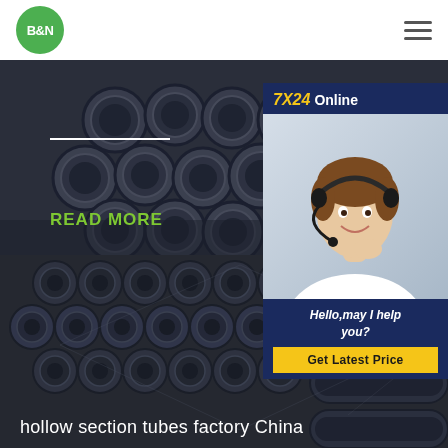[Figure (logo): B&N logo — green circle with white bold text]
[Figure (photo): Stack of dark steel pipes/tubes viewed from the end, industrial setting]
READ MORE
[Figure (photo): Customer service representative wearing headset, smiling, with 7X24 Online chat widget overlay]
Hello,may I help you?
Get Latest Price
[Figure (photo): Large stack of round dark steel hollow section tubes/pipes arranged in rows, factory setting]
hollow section tubes factory China